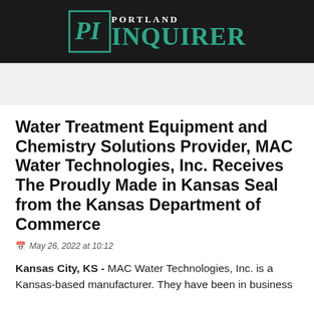[Figure (logo): Portland Inquirer newspaper logo with stylized PI monogram in teal/green on dark background, with 'PORTLAND' in small caps and 'INQUIRER' in large teal serif letters]
Water Treatment Equipment and Chemistry Solutions Provider, MAC Water Technologies, Inc. Receives The Proudly Made in Kansas Seal from the Kansas Department of Commerce
May 26, 2022 at 10:12
Kansas City, KS - MAC Water Technologies, Inc. is a Kansas-based manufacturer. They have been in business